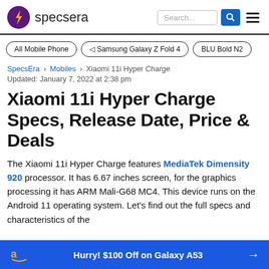specsera | Search... | menu
All Mobile Phone
◀ Samsung Galaxy Z Fold 4
BLU Bold N2
SpecsEra > Mobiles > Xiaomi 11i Hyper Charge
Updated: January 7, 2022 at 2:38 pm
Xiaomi 11i Hyper Charge Specs, Release Date, Price & Deals
The Xiaomi 11i Hyper Charge features MediaTek Dimensity 920 processor. It has 6.67 inches screen, for the graphics processing it has ARM Mali-G68 MC4. This device runs on the Android 11 operating system. Let's find out the full specs and characteristics of the
Hurry! $100 Off on Galaxy A53